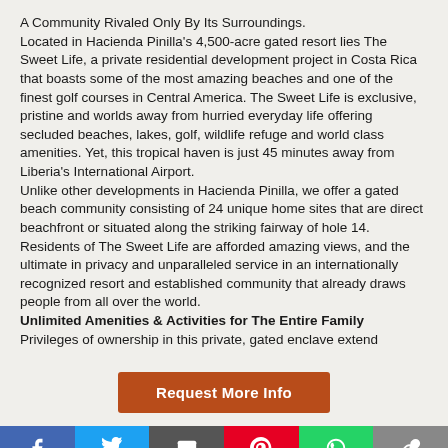A Community Rivaled Only By Its Surroundings.
Located in Hacienda Pinilla's 4,500-acre gated resort lies The Sweet Life, a private residential development project in Costa Rica that boasts some of the most amazing beaches and one of the finest golf courses in Central America. The Sweet Life is exclusive, pristine and worlds away from hurried everyday life offering secluded beaches, lakes, golf, wildlife refuge and world class amenities. Yet, this tropical haven is just 45 minutes away from Liberia's International Airport.
Unlike other developments in Hacienda Pinilla, we offer a gated beach community consisting of 24 unique home sites that are direct beachfront or situated along the striking fairway of hole 14. Residents of The Sweet Life are afforded amazing views, and the ultimate in privacy and unparalleled service in an internationally recognized resort and established community that already draws people from all over the world.
Unlimited Amenities & Activities for The Entire Family
Privileges of ownership in this private, gated enclave extend
Request More Info